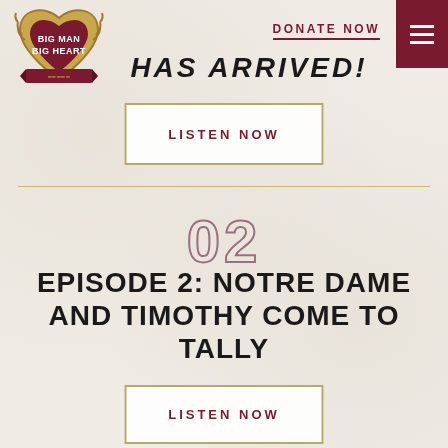[Figure (logo): Big Man Big Heart logo — heart shape with wheat wreath border, dark red background with white text reading BIG MAN BIG HEART and a ribbon banner]
DONATE NOW
HAS ARRIVED!
LISTEN NOW
02
EPISODE 2: NOTRE DAME AND TIMOTHY COME TO TALLY
LISTEN NOW